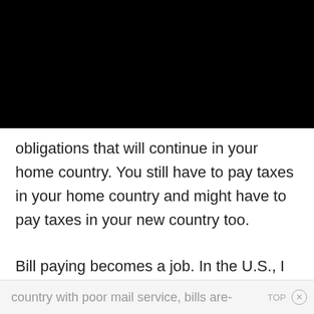[Figure (other): Black rectangular area covering the top portion of the page, obscuring content above]
obligations that will continue in your home country. You still have to pay taxes in your home country and might have to pay taxes in your new country too.
Bill paying becomes a job. In the U.S., I was able to pay bills online. In Mexico, a
country with poor mail service, bills are-  TOP ×